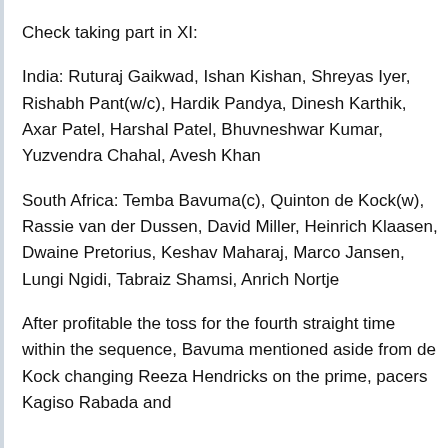Check taking part in XI:
India: Ruturaj Gaikwad, Ishan Kishan, Shreyas Iyer, Rishabh Pant(w/c), Hardik Pandya, Dinesh Karthik, Axar Patel, Harshal Patel, Bhuvneshwar Kumar, Yuzvendra Chahal, Avesh Khan
South Africa: Temba Bavuma(c), Quinton de Kock(w), Rassie van der Dussen, David Miller, Heinrich Klaasen, Dwaine Pretorius, Keshav Maharaj, Marco Jansen, Lungi Ngidi, Tabraiz Shamsi, Anrich Nortje
After profitable the toss for the fourth straight time within the sequence, Bavuma mentioned aside from de Kock changing Reeza Hendricks on the prime, pacers Kagiso Rabada and